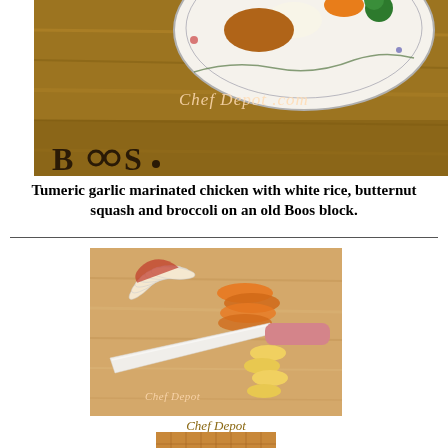[Figure (photo): Close-up of a wooden Boos cutting board (brand name visible at bottom left) with a decorative plate holding food (chicken, white rice, butternut squash, broccoli) in the background. A 'Chef Depot.com' watermark is overlaid on the wooden surface.]
Tumeric garlic marinated chicken with white rice, butternut squash and broccoli on an old Boos block.
[Figure (photo): A white and pink ceramic knife resting on a light maple butcher-block cutting board beside sliced apple and banana pieces. 'Chef Depot' watermark overlaid.]
Chef Depot
[Figure (photo): Partial view of the top surface of a wooden end-grain butcher block, showing the characteristic cross-cut wood grain pattern.]